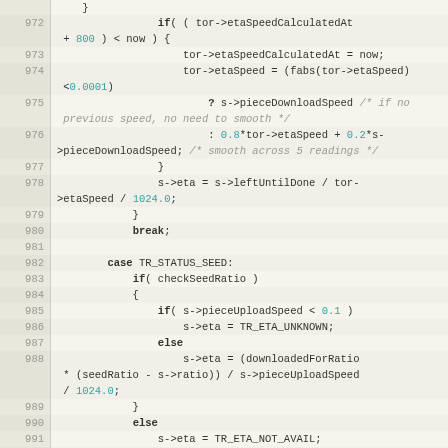[Figure (screenshot): Source code viewer showing C code lines 972-997, with line numbers on the left in a beige/tan column and code on the right. Code involves torrent ETA speed calculations and seed ratio checks.]